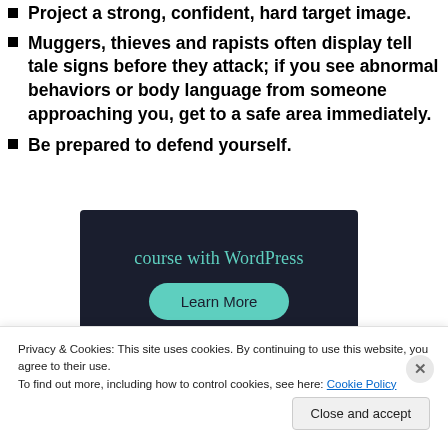Project a strong, confident, hard target image.
Muggers, thieves and rapists often display tell tale signs before they attack; if you see abnormal behaviors or body language from someone approaching you, get to a safe area immediately.
Be prepared to defend yourself.
[Figure (screenshot): Dark navy advertisement banner with teal text reading 'course with WordPress' and a teal rounded button labeled 'Learn More']
Privacy & Cookies: This site uses cookies. By continuing to use this website, you agree to their use.
To find out more, including how to control cookies, see here: Cookie Policy